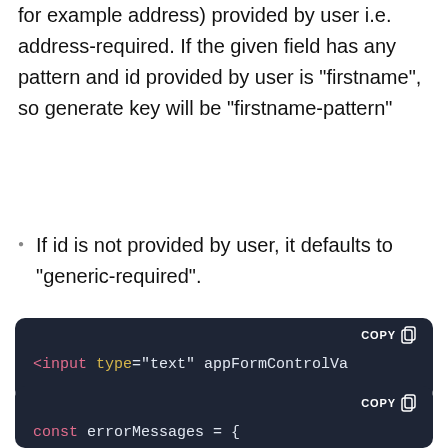for example address) provided by user i.e. address-required. If the given field has any pattern and id provided by user is "firstname", so generate key will be "firstname-pattern"
If id is not provided by user, it defaults to "generic-required".
[Figure (screenshot): Dark code block showing: <input type="text" appFormControlVa (truncated)]
[Figure (screenshot): Dark code block showing: const errorMessages = {]